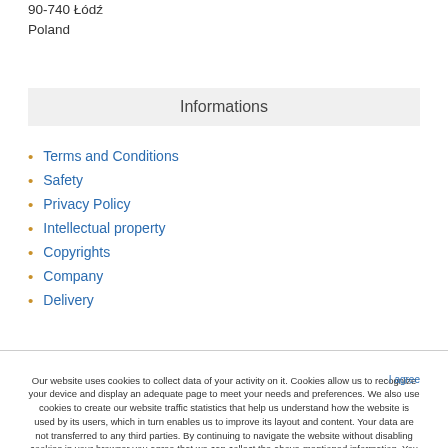90-740 Łódź
Poland
Informations
Terms and Conditions
Safety
Privacy Policy
Intellectual property
Copyrights
Company
Delivery
Our website uses cookies to collect data of your activity on it. Cookies allow us to recognize your device and display an adequate page to meet your needs and preferences. We also use cookies to create our website traffic statistics that help us understand how the website is used by its users, which in turn enables us to improve its layout and content. Your data are not transferred to any third parties. By continuing to navigate the website without disabling cookies in your browser you agree that we can collect the above-mentioned information. You are free to withdraw your consent at any time by sending us an email or deleting cookies from your watch history. To learn more about cookies, click here : Cookies Policy.